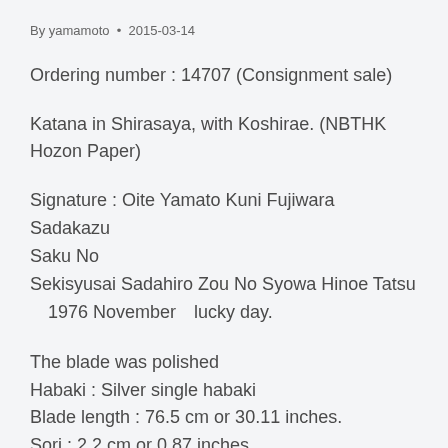By yamamoto • 2015-03-14
Ordering number : 14707 (Consignment sale)
Katana in Shirasaya, with Koshirae. (NBTHK Hozon Paper)
Signature : Oite Yamato Kuni Fujiwara Sadakazu Saku No
Sekisyusai Sadahiro Zou No Syowa Hinoe Tatsu
=1976 November=lucky day.
The blade was polished
Habaki : Silver single habaki
Blade length : 76.5 cm or 30.11 inches.
Sori : 2.2 cm or 0.87 inches.